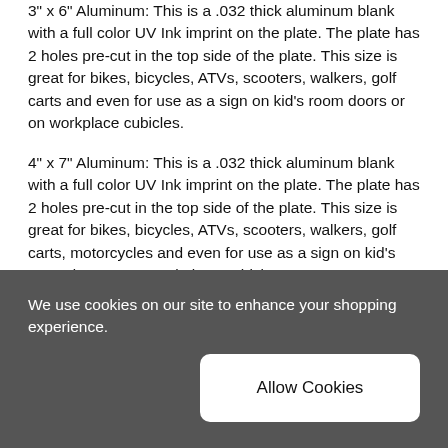3" x 6" Aluminum: This is a .032 thick aluminum blank with a full color UV Ink imprint on the plate. The plate has 2 holes pre-cut in the top side of the plate. This size is great for bikes, bicycles, ATVs, scooters, walkers, golf carts and even for use as a sign on kid's room doors or on workplace cubicles.
4" x 7" Aluminum: This is a .032 thick aluminum blank with a full color UV Ink imprint on the plate. The plate has 2 holes pre-cut in the top side of the plate. This size is great for bikes, bicycles, ATVs, scooters, walkers, golf carts, motorcycles and even for use as a sign on kid's room doors or on workplace cubicles.
6"x 12" Aluminum: This is a .032 thick aluminum blank with a full color UV Ink imprint on the plate. The plate has 4 holes pre-cut 2 upper and 2 lower. This is the standard size
We use cookies on our site to enhance your shopping experience.